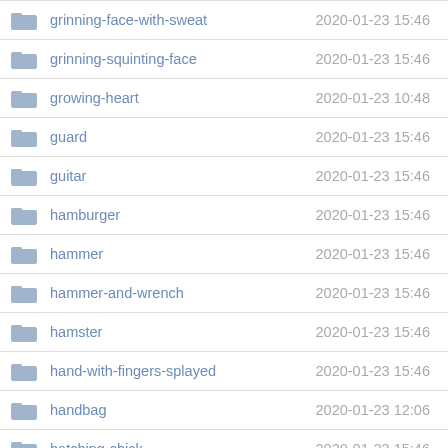| Name | Date |
| --- | --- |
| grinning-face-with-sweat | 2020-01-23 15:46 |
| grinning-squinting-face | 2020-01-23 15:46 |
| growing-heart | 2020-01-23 10:48 |
| guard | 2020-01-23 15:46 |
| guitar | 2020-01-23 15:46 |
| hamburger | 2020-01-23 15:46 |
| hammer | 2020-01-23 15:46 |
| hammer-and-wrench | 2020-01-23 15:46 |
| hamster | 2020-01-23 15:46 |
| hand-with-fingers-splayed | 2020-01-23 15:46 |
| handbag | 2020-01-23 12:06 |
| hatching-chick | 2020-01-23 15:46 |
| headphone | 2020-01-23 15:46 |